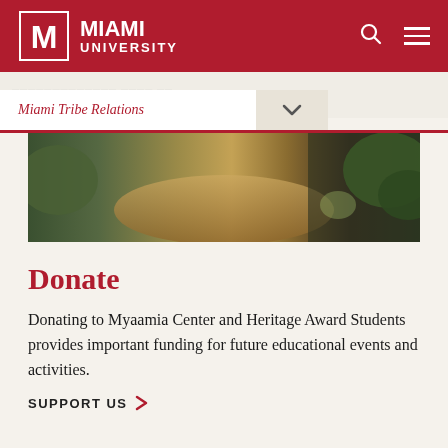[Figure (logo): Miami University logo with M mark and university name in white on red header bar]
Miami Tribe Relations
[Figure (photo): Outdoor photo showing garden area with gravel, mulch, and green bushes/shrubs]
Donate
Donating to Myaamia Center and Heritage Award Students provides important funding for future educational events and activities.
SUPPORT US >